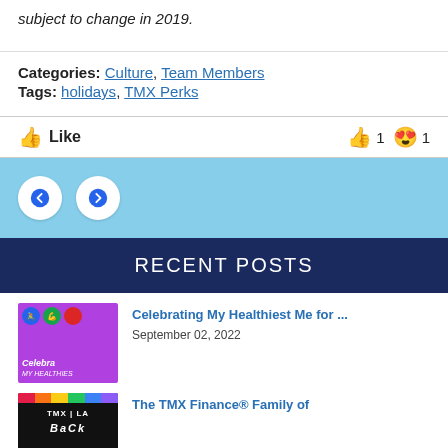subject to change in 2019.
Categories: Culture, Team Members
Tags: holidays, TMX Perks
👍 Like   👍 1 😍 1
[Figure (other): Navigation arrows: left arrow button and right arrow button]
RECENT POSTS
[Figure (photo): Thumbnail image for Celebrating My Healthiest Me post - purple background with health icons]
Celebrating My Healthiest Me for ...
September 02, 2022
[Figure (photo): Thumbnail image for The TMX Finance Family of post - dark background with rainbow bar]
The TMX Finance® Family of